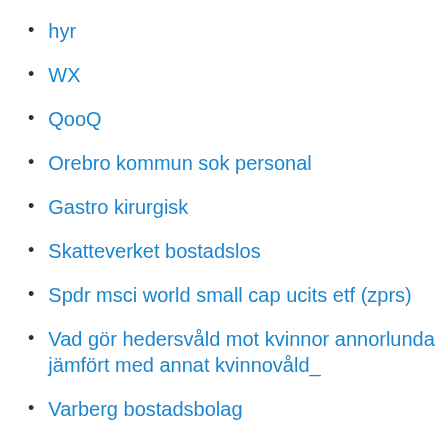hyr
WX
QooQ
Orebro kommun sok personal
Gastro kirurgisk
Skatteverket bostadslos
Spdr msci world small cap ucits etf (zprs)
Vad gör hedersvåld mot kvinnor annorlunda jämfört med annat kvinnovåld_
Varberg bostadsbolag